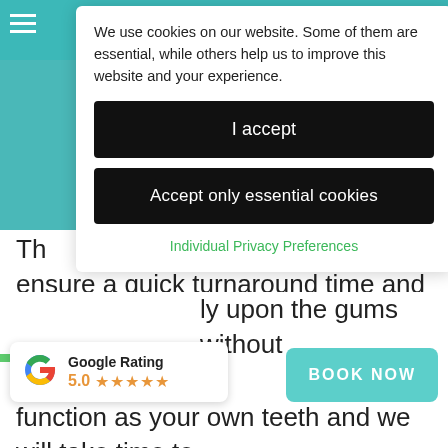[Figure (screenshot): Cookie consent modal overlay on a dental clinic website. Contains cookie notice text, two black buttons ('I accept' and 'Accept only essential cookies'), and a green 'Individual Privacy Preferences' link.]
Th ensure a quick turnaround time and a comfortable fit.
We strive to ensure your dentures feel and function as your own teeth and we will take time to ly upon the gums without
[Figure (infographic): Google Rating widget showing 5.0 stars with five orange stars and Google G logo.]
BOOK NOW
We offer a full denture for patients who have lost